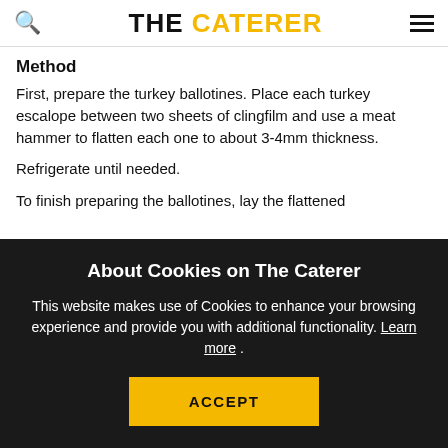THE CATERER
Method
First, prepare the turkey ballotines. Place each turkey escalope between two sheets of clingfilm and use a meat hammer to flatten each one to about 3-4mm thickness.
Refrigerate until needed.
To finish preparing the ballotines, lay the flattened
About Cookies on The Caterer
This website makes use of Cookies to enhance your browsing experience and provide you with additional functionality. Learn more .
ACCEPT